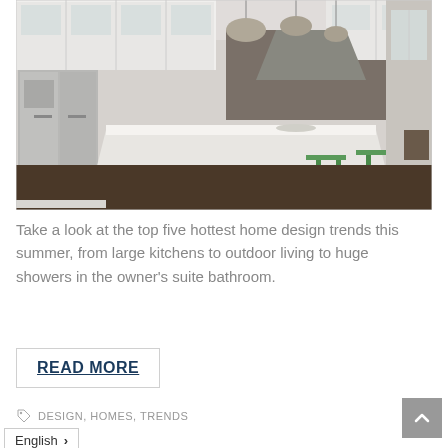[Figure (photo): Modern kitchen interior with white cabinets, large island with green bar stools, stainless steel refrigerator, pendant lights, and dark tile backsplash]
Take a look at the top five hottest home design trends this summer, from large kitchens to outdoor living to huge showers in the owner's suite bathroom.
READ MORE
DESIGN, HOMES, TRENDS
English